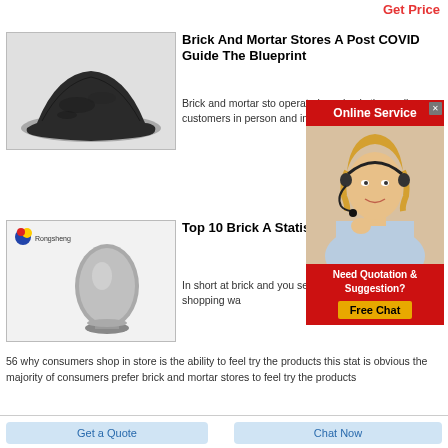Get Price
[Figure (photo): Pile of dark grey/black powder material on white background]
Brick And Mortar Stores A Post COVID Guide The Blueprint
Brick and mortar stores operate in a physical location they sell customers in person and in ph
[Figure (photo): Silver/grey egg-shaped object on pedestal stand, with Rongsheng logo in top-left corner]
Top 10 Brick A Statistics Tha
In short at brick and you see rest 51 of a online shopping wa 56 why consumers shop in store is the ability to feel try the products this stat is obvious the majority of consumers prefer brick and mortar stores to feel try the products
[Figure (screenshot): Online Service popup with blonde woman wearing headset, red background, and Free Chat button]
Get a Quote
Chat Now